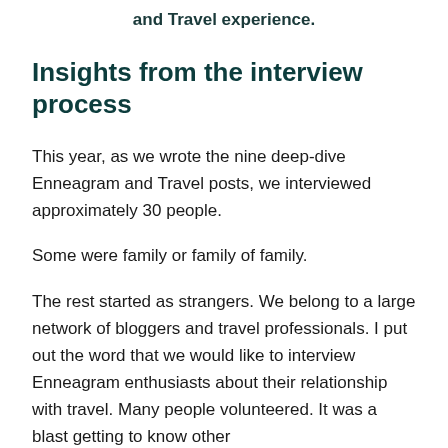and Travel experience.
Insights from the interview process
This year, as we wrote the nine deep-dive Enneagram and Travel posts, we interviewed approximately 30 people.
Some were family or family of family.
The rest started as strangers. We belong to a large network of bloggers and travel professionals. I put out the word that we would like to interview Enneagram enthusiasts about their relationship with travel. Many people volunteered. It was a blast getting to know other